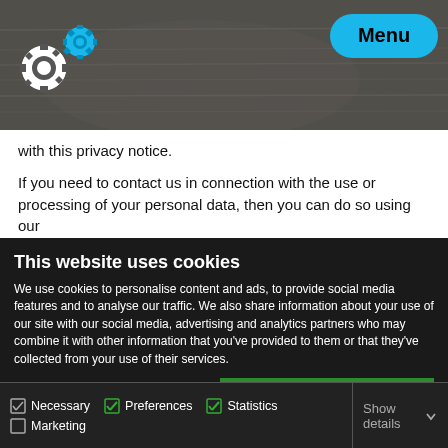[Figure (screenshot): Website header with dark blurred background image showing papers/documents, gear icon logo on left, blue oval Menu button on right]
with this privacy notice.
If you need to contact us in connection with the use or processing of your personal data, then you can do so using our
This website uses cookies
We use cookies to personalise content and ads, to provide social media features and to analyse our traffic. We also share information about your use of our site with our social media, advertising and analytics partners who may combine it with other information that you've provided to them or that they've collected from your use of their services.
Allow all cookies
Allow selection
Use necessary cookies only
Necessary   Preferences   Statistics   Marketing   Show details